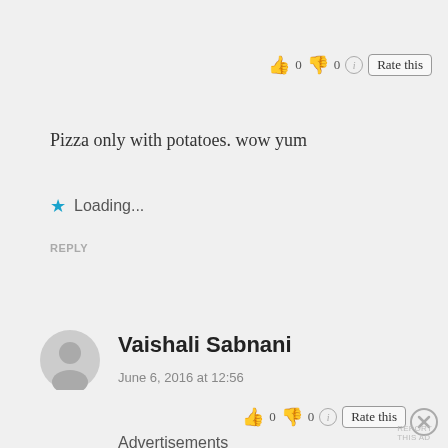[Figure (other): Rate this widget with thumbs up 0 thumbs down 0 info icon and Rate this button]
Pizza only with potatoes. wow yum
★  Loading...
REPLY
[Figure (other): User avatar silhouette icon]
Vaishali Sabnani
June 6, 2016 at 12:56
[Figure (other): Rate this widget with thumbs up 0 thumbs down 0 info icon and Rate this button]
Advertisements
REPORT THIS AD